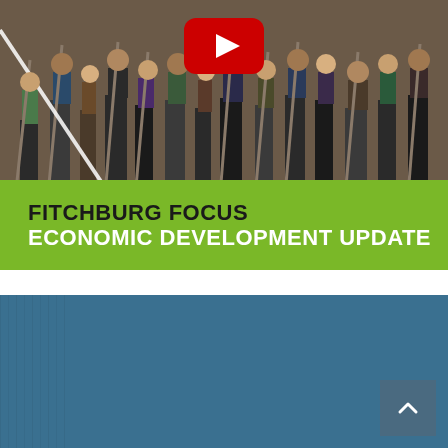[Figure (photo): A crowd of people holding shovels at a groundbreaking ceremony with a YouTube play button overlay in the center. A diagonal white line overlays the left side of the image. A green banner at the bottom reads FITCHBURG FOCUS ECONOMIC DEVELOPMENT UPDATE.]
[Figure (screenshot): Dark teal/blue textured background panel occupying the lower portion of the page, with a scroll-to-top button (chevron up arrow) in the bottom right corner.]